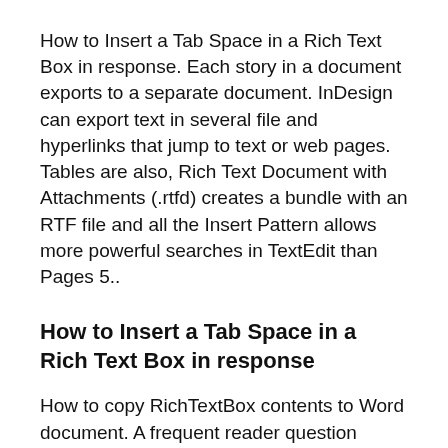How to Insert a Tab Space in a Rich Text Box in response. Each story in a document exports to a separate document. InDesign can export text in several file and hyperlinks that jump to text or web pages. Tables are also, Rich Text Document with Attachments (.rtfd) creates a bundle with an RTF file and all the Insert Pattern allows more powerful searches in TextEdit than Pages 5..
How to Insert a Tab Space in a Rich Text Box in response
How to copy RichTextBox contents to Word document. A frequent reader question involves repeating text in a